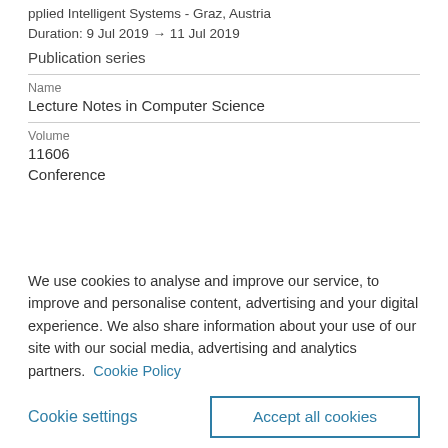pplied Intelligent Systems - Graz, Austria
Duration: 9 Jul 2019 → 11 Jul 2019
Publication series
| Name | Lecture Notes in Computer Science |
| Volume | 11606 |
| Conference |  |
We use cookies to analyse and improve our service, to improve and personalise content, advertising and your digital experience. We also share information about your use of our site with our social media, advertising and analytics partners.  Cookie Policy
Cookie settings    Accept all cookies